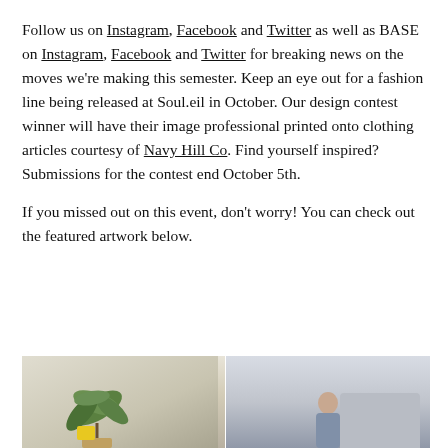Follow us on Instagram, Facebook and Twitter as well as BASE on Instagram, Facebook and Twitter for breaking news on the moves we're making this semester. Keep an eye out for a fashion line being released at Soul.eil in October. Our design contest winner will have their image professional printed onto clothing articles courtesy of Navy Hill Co. Find yourself inspired? Submissions for the contest end October 5th.

If you missed out on this event, don't worry! You can check out the featured artwork below.
[Figure (photo): Two-panel photo showing an art event. Left panel shows a person with a plant in the background. Right panel shows a person at a laptop.]